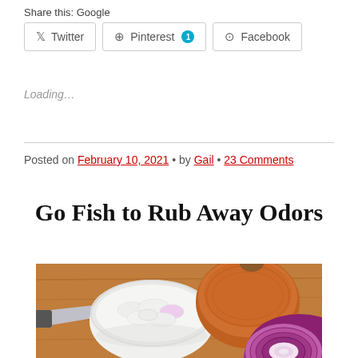Share this: Google
Twitter  Pinterest 1  Facebook
Loading…
Posted on February 10, 2021 • by Gail • 23 Comments
Go Fish to Rub Away Odors
[Figure (photo): Photo of chopped onions in a white bowl with a chef's knife, a large brown onion, and a halved red onion on a wooden cutting board.]